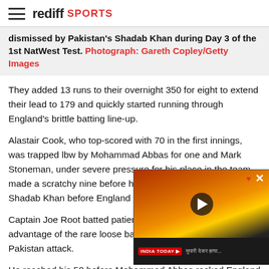rediff SPORTS
dismissed by Pakistan's Shadab Khan during Day 3 of the 1st NatWest Test. Photograph: Gareth Copley/Getty Images
They added 13 runs to their overnight 350 for eight to extend their lead to 179 and quickly started running through England's brittle batting line-up.
Alastair Cook, who top-scored with 70 in the first innings, was trapped lbw by Mohammad Abbas for one and Mark Stoneman, under severe pressure for his place in the team, made a scratchy nine before he was bowled by leg-spinner Shadab Khan before England limped to lunch at 37 for two.
Captain Joe Root batted patien... take advantage of the rare loos... disciplined Pakistan attack.
He reached his 50 before Moh... stage with two wickets in one over.
Pakistan's left-arm seamer found the edge of Dawid